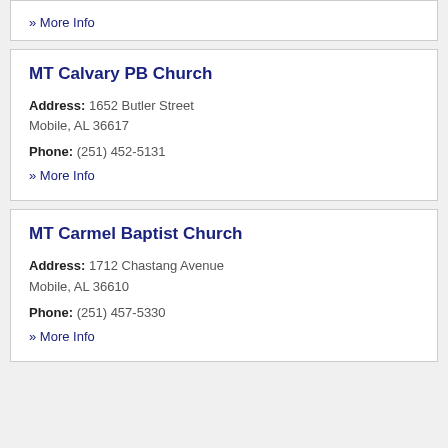» More Info
MT Calvary PB Church
Address: 1652 Butler Street Mobile, AL 36617
Phone: (251) 452-5131
» More Info
MT Carmel Baptist Church
Address: 1712 Chastang Avenue Mobile, AL 36610
Phone: (251) 457-5330
» More Info